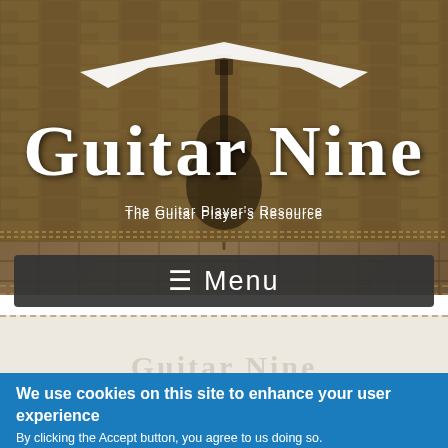[Figure (logo): Guitar Nine logo — white stylized electric guitar shape above large white serif lettering 'Guitar Nine' on a brick wall background]
The Guitar Player's Resource
≡ Menu
We use cookies on this site to enhance your user experience
By clicking the Accept button, you agree to us doing so.